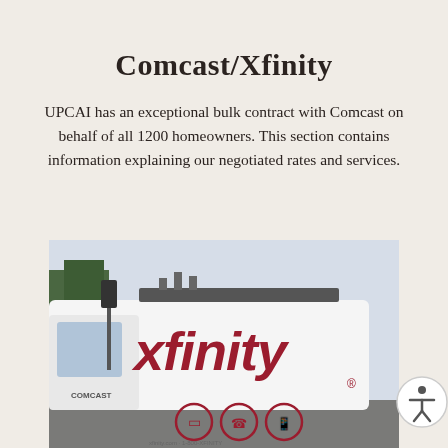Comcast/Xfinity
UPCAI has an exceptional bulk contract with Comcast on behalf of all 1200 homeowners. This section contains information explaining our negotiated rates and services.
[Figure (photo): Photo of a white Xfinity/Comcast service van with large red 'xfinity' lettering and service icons on the side, parked outdoors.]